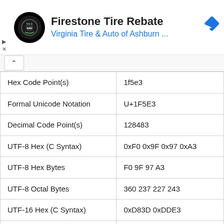[Figure (screenshot): Advertisement banner for Virginia Tire & Auto of Ashburn featuring logo, title 'Firestone Tire Rebate', and a blue navigation arrow icon]
| Property | Value |
| --- | --- |
| Hex Code Point(s) | 1f5e3 |
| Formal Unicode Notation | U+1F5E3 |
| Decimal Code Point(s) | 128483 |
| UTF-8 Hex (C Syntax) | 0xF0 0x9F 0x97 0xA3 |
| UTF-8 Hex Bytes | F0 9F 97 A3 |
| UTF-8 Octal Bytes | 360 237 227 243 |
| UTF-16 Hex (C Syntax) | 0xD83D 0xDDE3 |
| UTF-16 Hex | d83ddde3 |
| UTF-16 Dec | 55357 56803 |